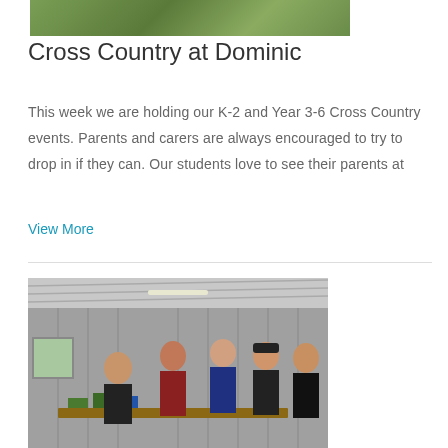[Figure (photo): Top portion of a photo showing green grass field, partially cropped]
Cross Country at Dominic
This week we are holding our K-2 and Year 3-6 Cross Country events. Parents and carers are always encouraged to try to drop in if they can. Our students love to see their parents at
View More
[Figure (photo): Students standing in a shed/workshop environment, appearing to discuss something. Five students visible, wearing school uniforms including black polo shirts and a maroon hoodie.]